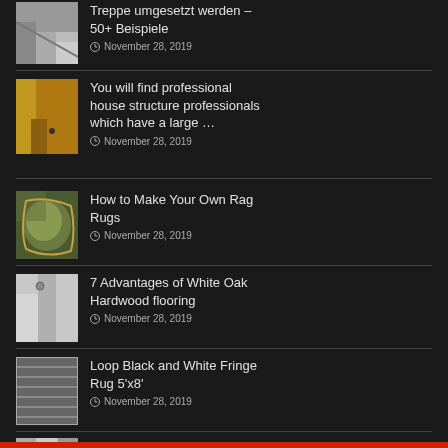Treppe umgesetzt werden – 50+ Beispiele
November 28, 2019
You will find professional house structure professionals which have a large …
November 28, 2019
How to Make Your Own Rag Rugs
November 28, 2019
7 Advantages of White Oak Hardwood flooring
November 28, 2019
Loop Black and White Fringe Rug 5'x8'
November 28, 2019
Online Shopping – Bedding,